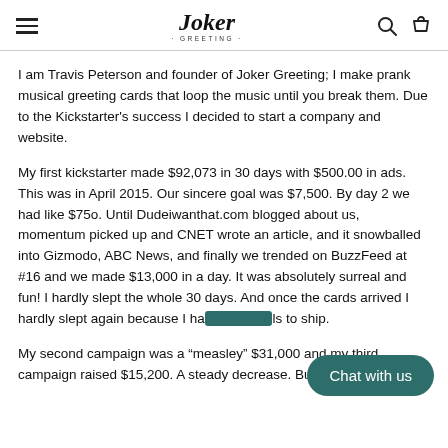Joker Greeting
I am Travis Peterson and founder of Joker Greeting; I make prank musical greeting cards that loop the music until you break them. Due to the Kickstarter's success I decided to start a company and website.
My first kickstarter made $92,073 in 30 days with $500.00 in ads. This was in April 2015. Our sincere goal was $7,500. By day 2 we had like $75o. Until Dudeiwanthat.com blogged about us, momentum picked up and CNET wrote an article, and it snowballed into Gizmodo, ABC News, and finally we trended on BuzzFeed at #16 and we made $13,000 in a day. It was absolutely surreal and fun! I hardly slept the whole 30 days. And once the cards arrived I hardly slept again because I had ls to ship.
My second campaign was a “measley” $31,000 and my third campaign raised $15,200. A steady decrease. But I